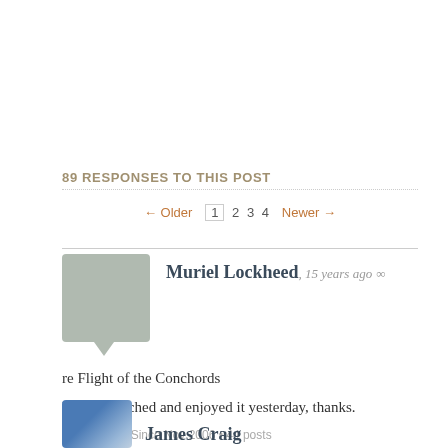89 RESPONSES TO THIS POST
← Older  1  2  3  4  Newer →
Muriel Lockheed, 15 years ago ∞
re Flight of the Conchords
Noted, watched and enjoyed it yesterday, thanks.
Wellywood • Since Nov 2006 • 44 posts
Reply